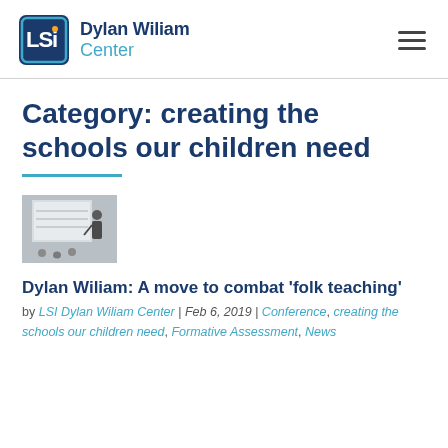Dylan Wiliam Center
Category: creating the schools our children need
[Figure (photo): A man presenting in front of a projection screen at a conference]
Dylan Wiliam: A move to combat 'folk teaching'
by LSI Dylan Wiliam Center | Feb 6, 2019 | Conference, creating the schools our children need, Formative Assessment, News